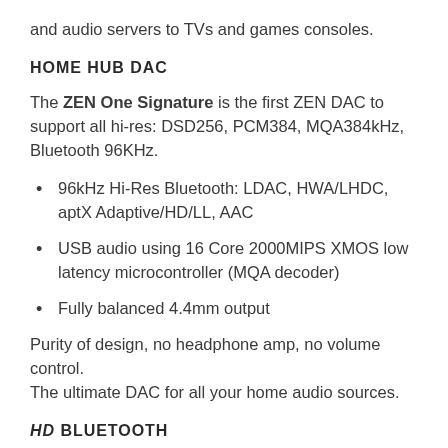and audio servers to TVs and games consoles.
HOME HUB DAC
The ZEN One Signature is the first ZEN DAC to support all hi-res: DSD256, PCM384, MQA384kHz, Bluetooth 96KHz.
96kHz Hi-Res Bluetooth: LDAC, HWA/LHDC, aptX Adaptive/HD/LL, AAC
USB audio using 16 Core 2000MIPS XMOS low latency microcontroller (MQA decoder)
Fully balanced 4.4mm output
Purity of design, no headphone amp, no volume control. The ultimate DAC for all your home audio sources.
HD BLUETOOTH